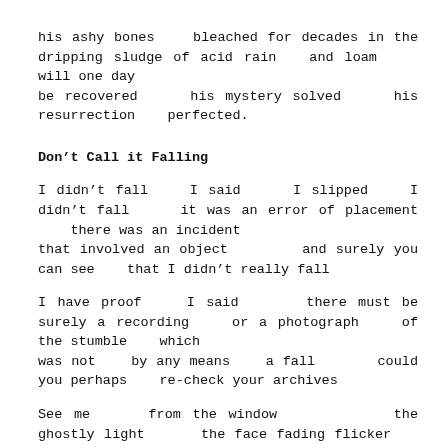his ashy bones   bleached for decades in the dripping sludge of acid rain   and loam    will one day
be recovered    his mystery solved    his resurrection   perfected.
Don't Call it Falling
I didn't fall   I said    I slipped   I didn't fall    it was an error of placement    there was an incident
that involved an object       and surely you can see   that I didn't really fall
I have proof   I said     there must be surely a recording   or a photograph   of the stumble   which
was not   by any means   a fall      could you perhaps   re-check your archives
See me    from the window          the ghostly light     the face fading flicker   of the night light    in a different room   whose thin  glimmer  fails  to  penetrate  into  the  room  where  the incident occurred
We are living within the residue of time    the main thrust of